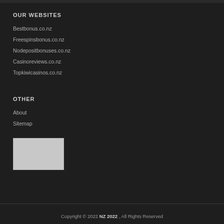OUR WEBSITES
Bestbonus.co.nz
Freespinsbonus.co.nz
Nodepositbonuses.co.nz
Casinoreviews.co.nz
Topkiwicasinos.co.nz
OTHER
About
Sitemap
[Figure (other): Gray rectangular image placeholder]
Copyright © 2022 NZ 2022 , All Rights Reserved